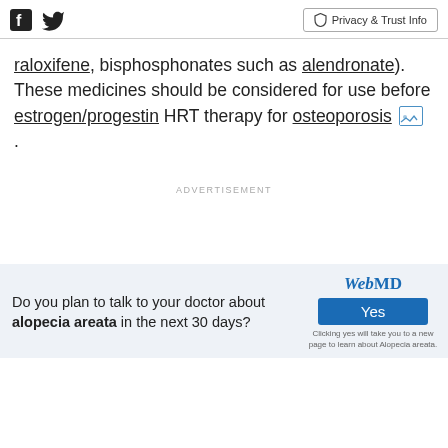Facebook Twitter | Privacy & Trust Info
raloxifene, bisphosphonates such as alendronate). These medicines should be considered for use before estrogen/progestin HRT therapy for osteoporosis.
ADVERTISEMENT
ADVERTISEMENT
Do you plan to talk to your doctor about alopecia areata in the next 30 days? | WebMD | Yes | Clicking yes will take you to a new page to learn about Alopecia areata.